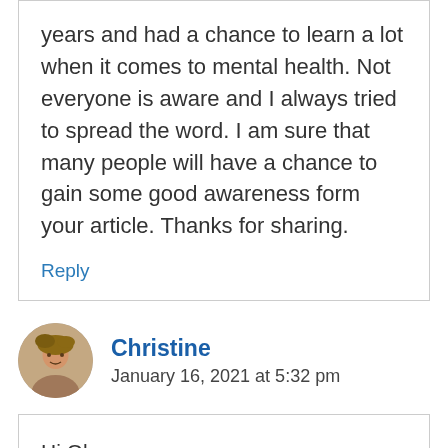years and had a chance to learn a lot when it comes to mental health. Not everyone is aware and I always tried to spread the word. I am sure that many people will have a chance to gain some good awareness form your article. Thanks for sharing.
Reply
Christine
January 16, 2021 at 5:32 pm
Hi Ola,